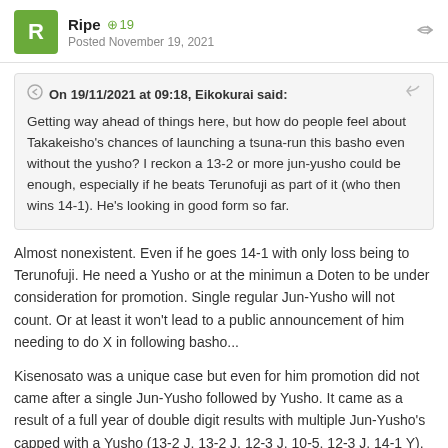Ripe  +19
Posted November 19, 2021
On 19/11/2021 at 09:18, Eikokurai said:
Getting way ahead of things here, but how do people feel about Takakeisho's chances of launching a tsuna-run this basho even without the yusho? I reckon a 13-2 or more jun-yusho could be enough, especially if he beats Terunofuji as part of it (who then wins 14-1). He's looking in good form so far.
Almost nonexistent. Even if he goes 14-1 with only loss being to Terunofuji. He need a Yusho or at the minimun a Doten to be under consideration for promotion. Single regular Jun-Yusho will not count. Or at least it won't lead to a public announcement of him needing to do X in following basho...
Kisenosato was a unique case but even for him promotion did not came after a single Jun-Yusho followed by Yusho. It came as a result of a full year of double digit results with multiple Jun-Yusho's capped with a Yusho (13-2 J, 13-2 J, 12-3 J, 10-5, 12-3 J, 14-1 Y). Takakeisho's last six